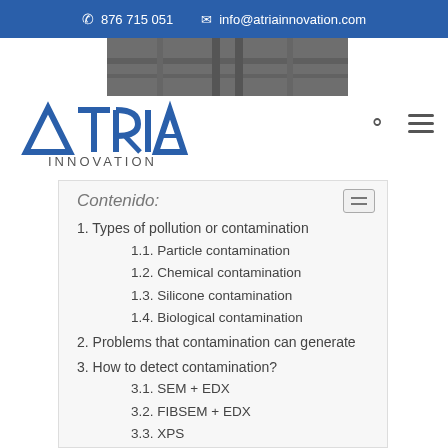876 715 051   info@atriainnovation.com
[Figure (photo): Grayscale photo of structural/bridge beams overhead]
[Figure (logo): ATRIA INNOVATION logo in blue]
Contenido:
1. Types of pollution or contamination
1.1. Particle contamination
1.2. Chemical contamination
1.3. Silicone contamination
1.4. Biological contamination
2. Problems that contamination can generate
3. How to detect contamination?
3.1. SEM + EDX
3.2. FIBSEM + EDX
3.3. XPS